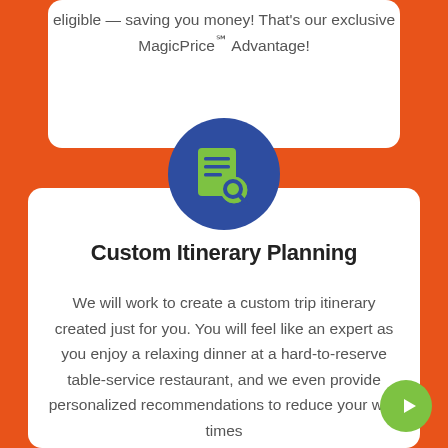eligible — saving you money! That's our exclusive MagicPrice℠ Advantage!
[Figure (illustration): Blue circle icon containing a green document/itinerary with a magnifying glass symbol]
Custom Itinerary Planning
We will work to create a custom trip itinerary created just for you. You will feel like an expert as you enjoy a relaxing dinner at a hard-to-reserve table-service restaurant, and we even provide personalized recommendations to reduce your wait times